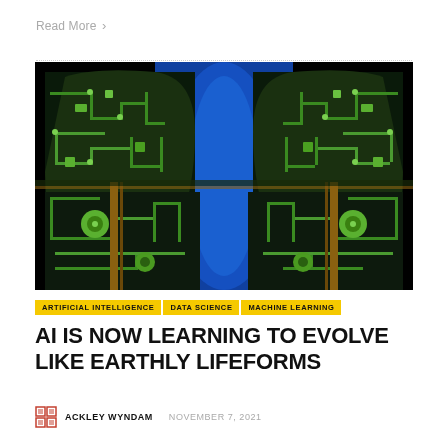Read More >
[Figure (illustration): Two mirrored human head silhouettes filled with green circuit board patterns against a deep blue background, representing artificial intelligence.]
ARTIFICIAL INTELLIGENCE
DATA SCIENCE
MACHINE LEARNING
AI IS NOW LEARNING TO EVOLVE LIKE EARTHLY LIFEFORMS
ACKLEY WYNDAM   NOVEMBER 7, 2021